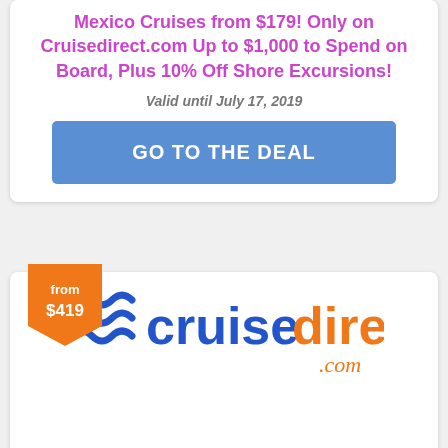Mexico Cruises from $179! Only on Cruisedirect.com Up to $1,000 to Spend on Board, Plus 10% Off Shore Excursions!
Valid until July 17, 2019
GO TO THE DEAL
[Figure (logo): Orange shield/badge price tag showing 'from $419']
[Figure (logo): CruiseDirect.com logo with blue wave icon and blue/orange text]